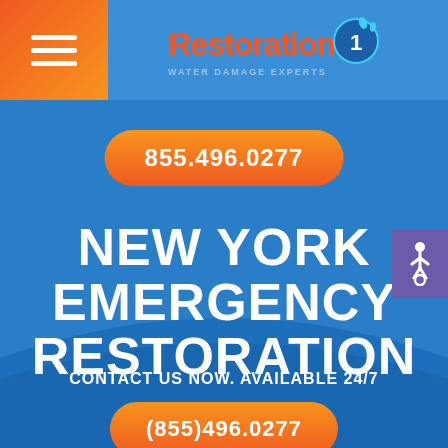[Figure (logo): Restoration 1 Water Damage Experts logo with orange/blue branding]
[Figure (screenshot): Orange rounded button with phone number 855.496.0277]
NEW YORK EMERGENCY RESTORATION – MOLD DAMAGE
CONTACT US NOW. AVAILABLE 24/7
[Figure (screenshot): Orange rounded button with phone number (855)496.0277, partially visible at bottom]